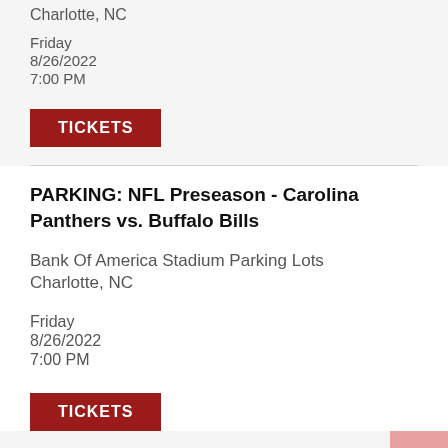Charlotte, NC
Friday
8/26/2022
7:00 PM
TICKETS
PARKING: NFL Preseason - Carolina Panthers vs. Buffalo Bills
Bank Of America Stadium Parking Lots
Charlotte, NC
Friday
8/26/2022
7:00 PM
TICKETS